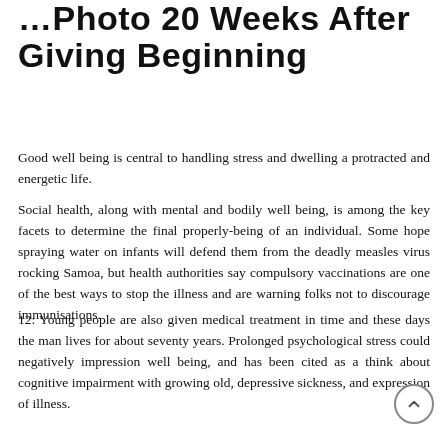Photo 20 Weeks After Giving Beginning
Good well being is central to handling stress and dwelling a protracted and energetic life.
Social health, along with mental and bodily well being, is among the key facets to determine the final properly-being of an individual. Some hope spraying water on infants will defend them from the deadly measles virus rocking Samoa, but health authorities say compulsory vaccinations are one of the best ways to stop the illness and are warning folks not to discourage immunisations.
12: Young people are also given medical treatment in time and these days the man lives for about seventy years. Prolonged psychological stress could negatively impression well being, and has been cited as a think about cognitive impairment with growing old, depressive sickness, and expression of illness.